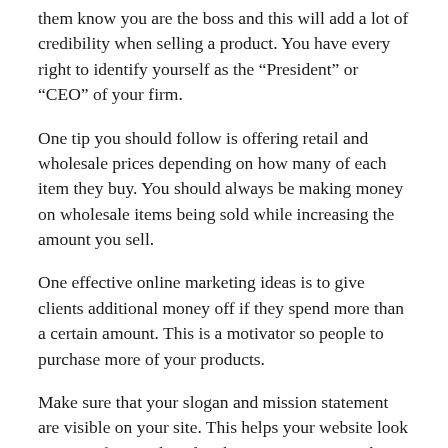them know you are the boss and this will add a lot of credibility when selling a product. You have every right to identify yourself as the “President” or “CEO” of your firm.
One tip you should follow is offering retail and wholesale prices depending on how many of each item they buy. You should always be making money on wholesale items being sold while increasing the amount you sell.
One effective online marketing ideas is to give clients additional money off if they spend more than a certain amount. This is a motivator so people to purchase more of your products.
Make sure that your slogan and mission statement are visible on your site. This helps your website look more professional, and it shows your visitors who you